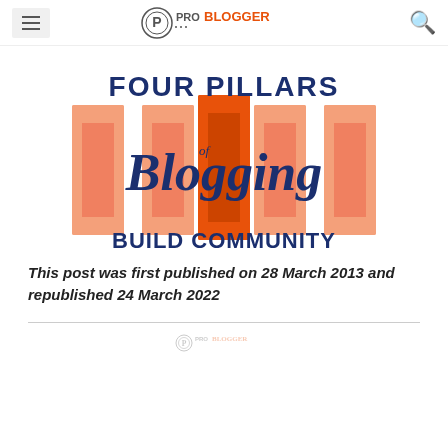ProBlogger
[Figure (illustration): Four Pillars of Blogging - Build Community graphic with orange and salmon colored pillar columns and dark blue stylized text]
This post was first published on 28 March 2013 and republished 24 March 2022
ProBlogger logo